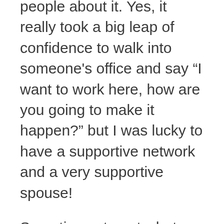people about it. Yes, it really took a big leap of confidence to walk into someone’s office and say “I want to work here, how are you going to make it happen?” but I was lucky to have a supportive network and a very supportive spouse!
Sometimes, to get what you want, the hardest step in the process is ASKING for it.
Once I made it clear to mentors, bosses, potential bosses etc that I was not willing